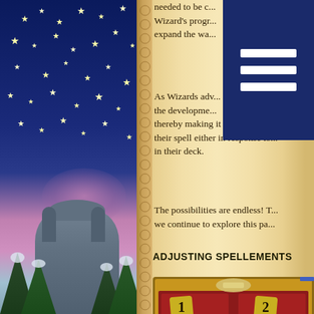[Figure (illustration): Night sky scene with stars over a fantasy castle and snow-covered trees]
needed to be c... Wizard's progr... expand the wa...
As Wizards adv... the developme... thereby making it useful in tou... their spell either in response to... in their deck.
The possibilities are endless! T... we continue to explore this pa...
ADJUSTING SPELLEMENTS
[Figure (screenshot): Game interface showing card selection screen with numbered slots 1 and 2, red card backgrounds, and Fire Cat card at bottom]